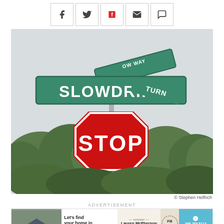[Figure (other): Social media share bar with icons for Facebook, Twitter, Flipboard, email, and comment]
[Figure (photo): Street signs showing SLOWDRIFT and SLOW WAY with a red STOP sign below, trees in background]
© Stephen Helfrich
ADVERTISEMENT
[Figure (photo): Advertisement banner: Let's find your home in Paradise - contact Lauren McPherson Realtor, FB logo, phone 386.793.5112]